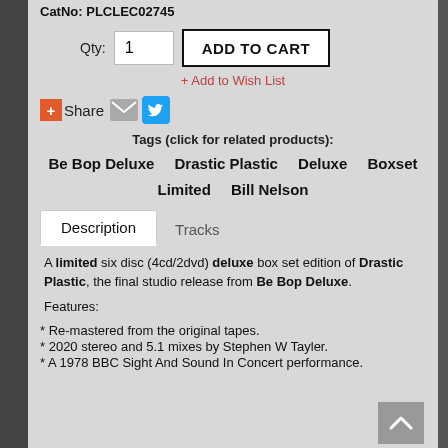CatNo: PLCLEC02745
Qty: 1  ADD TO CART
+ Add to Wish List
Share (email, twitter icons)
Tags (click for related products): Be Bop Deluxe  Drastic Plastic  Deluxe  Boxset  Limited  Bill Nelson
Description  Tracks
A limited six disc (4cd/2dvd) deluxe box set edition of Drastic Plastic, the final studio release from Be Bop Deluxe.
Features:
* Re-mastered from the original tapes.
* 2020 stereo and 5.1 mixes by Stephen W Tayler.
* A 1978 BBC Sight And Sound In Concert performance.